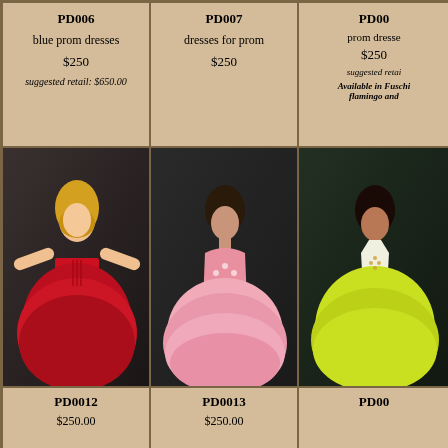| PD006 | PD007 | PD00x |
| --- | --- | --- |
| blue prom dresses
$250
suggested retail: $650.00 | dresses for prom
$250 | prom dresses
$250
suggested retail: ...
Available in Fuschi... flamingo and ... |
| [photo: red prom dress] | [photo: pink prom dress] | [photo: green/yellow prom dress] |
| PD0012
$250.00 | PD0013
$250.00 | PD00... |